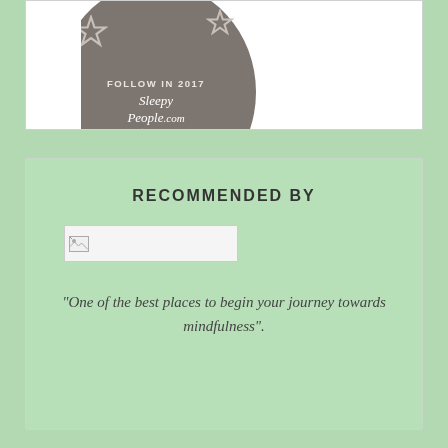[Figure (logo): Circular badge in grey/taupe color with text 'FOLLOW IN 2017' at top, 'Sleepy People.com' brand name with stars, and tagline 'the place for a great night's sleep']
RECOMMENDED BY
[Figure (other): Broken image placeholder/thumbnail of an external recommender logo]
"One of the best places to begin your journey towards mindfulness".